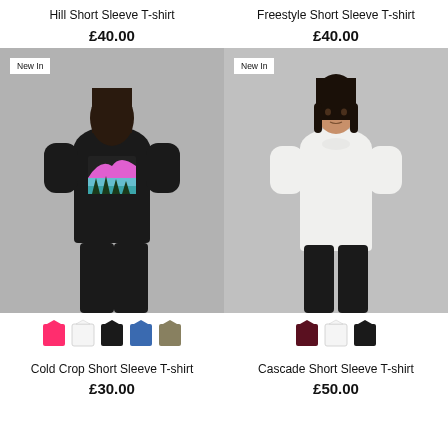Hill Short Sleeve T-shirt
Freestyle Short Sleeve T-shirt
£40.00
£40.00
[Figure (photo): Person wearing black t-shirt with mountain graphic, seen from behind, with 'New In' badge]
[Figure (photo): Person wearing white t-shirt, front view, with 'New In' badge]
[Figure (infographic): Color swatches: pink, white, black, blue, olive for Hill T-shirt]
[Figure (infographic): Color swatches: burgundy, white, black for Freestyle T-shirt]
Cold Crop Short Sleeve T-shirt
Cascade Short Sleeve T-shirt
£30.00
£50.00